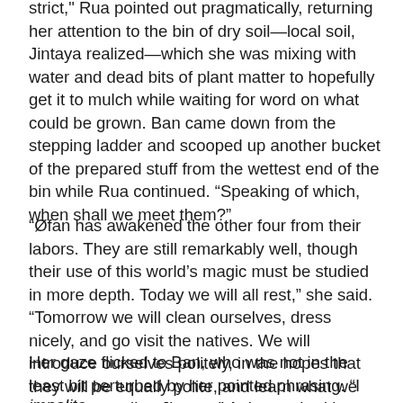strict," Rua pointed out pragmatically, returning her attention to the bin of dry soilâlocal soil, Jintaya realizedâwhich she was mixing with water and dead bits of plant matter to hopefully get it to mulch while waiting for word on what could be grown. Ban came down from the stepping ladder and scooped up another bucket of the prepared stuff from the wettest end of the bin while Rua continued. “Speaking of which, when shall we meet them?”
“Ã¸fan has awakened the other four from their labors. They are still remarkably well, though their use of this world’s magic must be studied in more depth. Today we will all rest,” she said. “Tomorrow we will clean ourselves, dress nicely, and go visit the natives. We will introduce ourselves politely, in the hopes that they will be equally polite, and learn what we can of this world.”
Her gaze flicked to Ban, who was not in the least bit perturbed by her pointed phrasing. “I am always polite, Jintaya.” At her arched brow, he added smoothly, “It is still very much a part of the word impolite